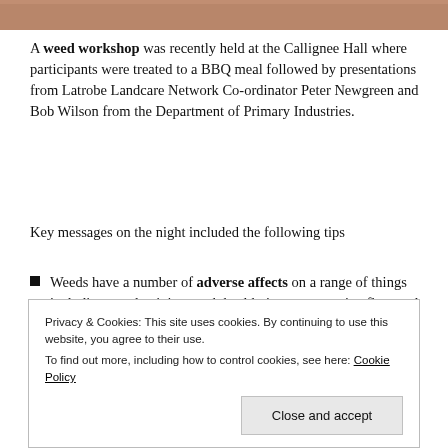[Figure (photo): Partial photo strip at the top of the page, showing a cropped image]
A weed workshop was recently held at the Callignee Hall where participants were treated to a BBQ meal followed by presentations from Latrobe Landcare Network Co-ordinator Peter Newgreen and Bob Wilson from the Department of Primary Industries.
Key messages on the night included the following tips
Weeds have a number of adverse affects on a range of things including, productivity, stock health, impact on native flora and fauna.
It is vitally important to be able to identify the weed
Privacy & Cookies: This site uses cookies. By continuing to use this website, you agree to their use.
To find out more, including how to control cookies, see here: Cookie Policy
Close and accept